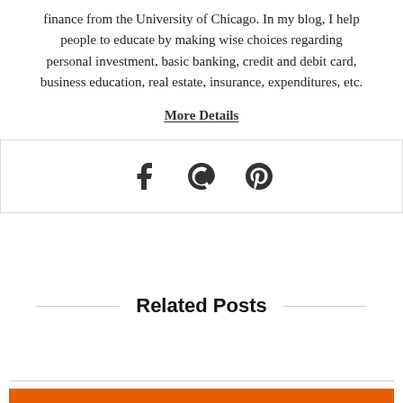finance from the University of Chicago. In my blog, I help people to educate by making wise choices regarding personal investment, basic banking, credit and debit card, business education, real estate, insurance, expenditures, etc.
More Details
[Figure (other): Social media icons: Facebook, Quora, Pinterest]
Related Posts
[Figure (other): Advertisement banner: Help send medical aid to Ukraine >> DirectRelief logo]